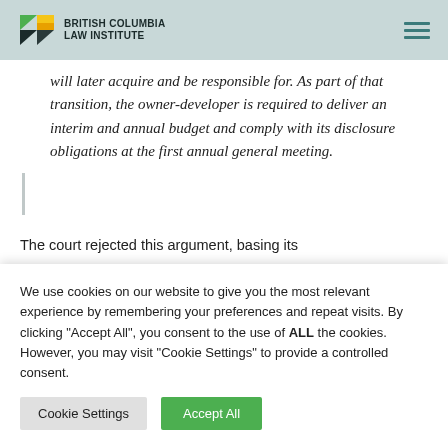British Columbia Law Institute
will later acquire and be responsible for. As part of that transition, the owner-developer is required to deliver an interim and annual budget and comply with its disclosure obligations at the first annual general meeting.
The court rejected this argument, basing its
We use cookies on our website to give you the most relevant experience by remembering your preferences and repeat visits. By clicking "Accept All", you consent to the use of ALL the cookies. However, you may visit "Cookie Settings" to provide a controlled consent.